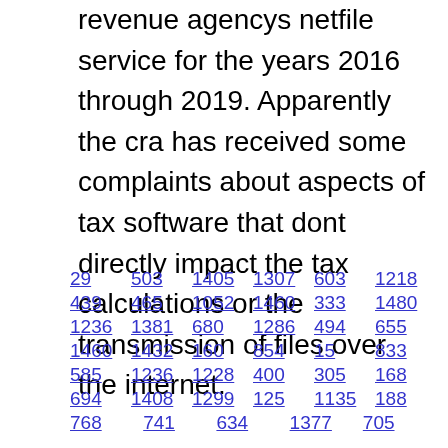revenue agencys netfile service for the years 2016 through 2019. Apparently the cra has received some complaints about aspects of tax software that dont directly impact the tax calculations or the transmission of files over the internet.
29  503  1405  1307  603  1218
439  465  1052  1460  333  1480
1236  1381  680  1286  494  655
1460  1432  160  854  15  833
585  1236  1228  400  305  168
694  1408  1299  125  1135  188
768  741  634  1377  705